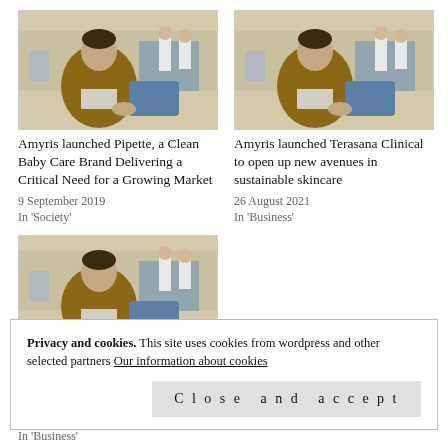[Figure (photo): Man in brown blazer seated, industrial background with workers in white coats]
Amyris launched Pipette, a Clean Baby Care Brand Delivering a Critical Need for a Growing Market
9 September 2019
In 'Society'
[Figure (photo): Man in brown blazer seated, industrial background with workers in white coats]
Amyris launched Terasana Clinical to open up new avenues in sustainable skincare
26 August 2021
In 'Business'
[Figure (photo): Man in brown blazer seated, industrial background with workers in white coats]
Privacy and cookies. This site uses cookies from wordpress and other selected partners Our information about cookies
Close and accept
In 'Business'